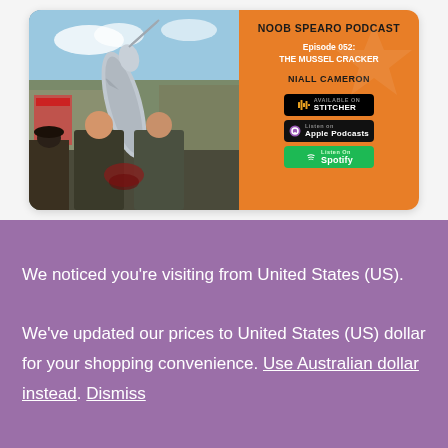[Figure (other): Podcast episode card for 'Noob Spearo Podcast' Episode 052: The Mussel Cracker with Niall Cameron. Left side shows a photo of two people in wetsuits holding a large fish. Right side is orange with episode details and badges for Stitcher, Apple Podcasts, and Spotify.]
We noticed you're visiting from United States (US). We've updated our prices to United States (US) dollar for your shopping convenience. Use Australian dollar instead. Dismiss